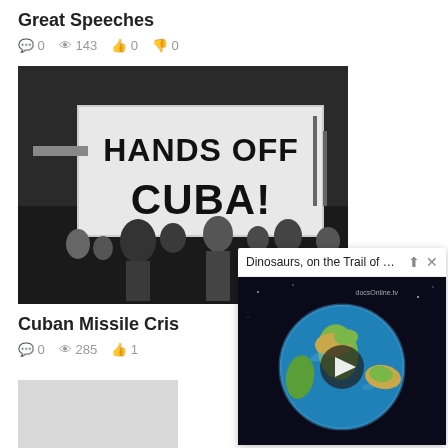Great Speeches
0  143  0  0
[Figure (photo): Black and white protest photo showing people holding a large banner reading 'HANDS OFF CUBA!' at a street demonstration]
Cuban Missile Cris
0  285  1
[Figure (photo): Gray thumbnail placeholder image]
[Figure (screenshot): Popup video card titled 'Dinosaurs, on the Trail of Pr...' showing a video thumbnail of a globe/Earth from space with a play button overlay, branded with docsOnline.tv watermark]